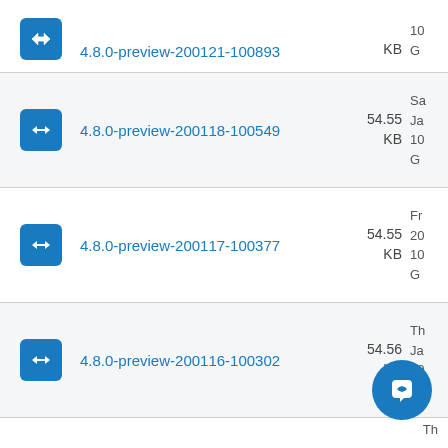4.8.0-preview-200121-100893  KB  10  G
4.8.0-preview-200118-100549  54.55 KB  Sa Ja 10 G
4.8.0-preview-200117-100377  54.55 KB  Fr 20 10 G
4.8.0-preview-200116-100302  54.56 KB  Th Ja 20 G
Th